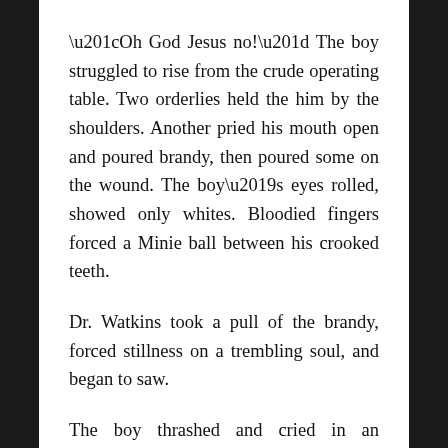“Oh God Jesus no!” The boy struggled to rise from the crude operating table. Two orderlies held the him by the shoulders. Another pried his mouth open and poured brandy, then poured some on the wound. The boy’s eyes rolled, showed only whites. Bloodied fingers forced a Minie ball between his crooked teeth.
Dr. Watkins took a pull of the brandy, forced stillness on a trembling soul, and began to saw.
The boy thrashed and cried in an unknown tongue, though the meaning was clear enough, until he fainted.
An orderly branded the ragged stump, the tent